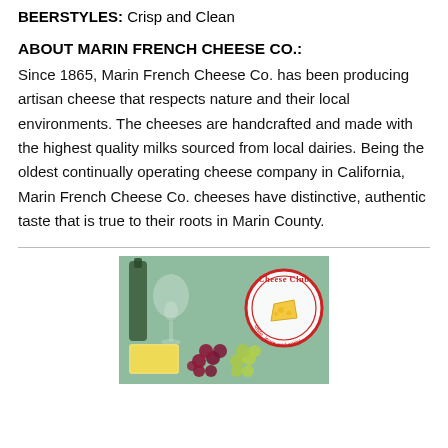BEERSTYLES: Crisp and Clean
ABOUT MARIN FRENCH CHEESE CO.:
Since 1865, Marin French Cheese Co. has been producing artisan cheese that respects nature and their local environments. The cheeses are handcrafted and made with the highest quality milks sourced from local dairies. Being the oldest continually operating cheese company in California, Marin French Cheese Co. cheeses have distinctive, authentic taste that is true to their roots in Marin County.
[Figure (photo): Photo of cheese, grapes, and wine bottle with a Cheese Club circular logo overlay reading 'taste, learn and enjoy']